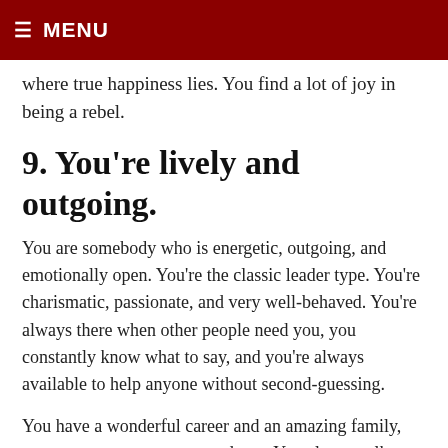≡ MENU
where true happiness lies. You find a lot of joy in being a rebel.
9. You're lively and outgoing.
You are somebody who is energetic, outgoing, and emotionally open. You're the classic leader type. You're charismatic, passionate, and very well-behaved. You're always there when other people need you, you constantly know what to say, and you're always available to help anyone without second-guessing.
You have a wonderful career and an amazing family, yet you are no stranger to sadness. You always talk about your feelings because you think that you'll hurt more if you don't. You try to see the best in people even if you've been treated dishonorably.
Which one did you choose? Did the results surprise you? Let us